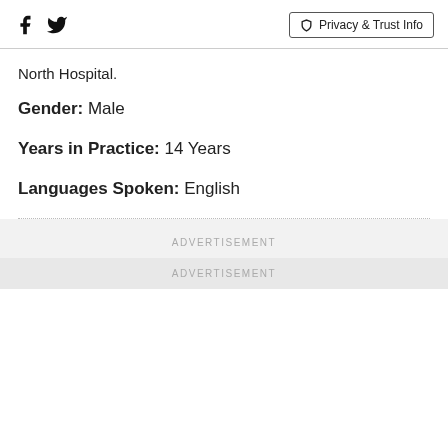Facebook Twitter | Privacy & Trust Info
North Hospital.
Gender: Male
Years in Practice: 14 Years
Languages Spoken: English
ADVERTISEMENT
ADVERTISEMENT